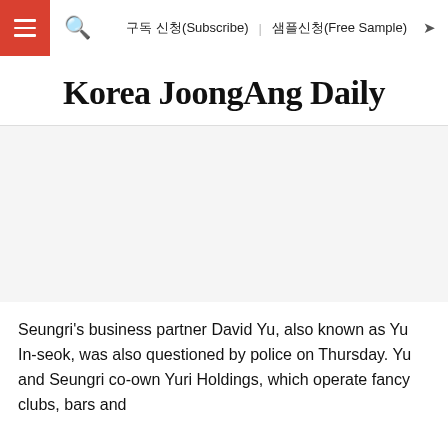구독 신청(Subscribe)  샘플신청(Free Sample)
Korea JoongAng Daily
[Figure (photo): Large image placeholder area (photo not loaded)]
Seungri's business partner David Yu, also known as Yu In-seok, was also questioned by police on Thursday. Yu and Seungri co-own Yuri Holdings, which operate fancy clubs, bars and